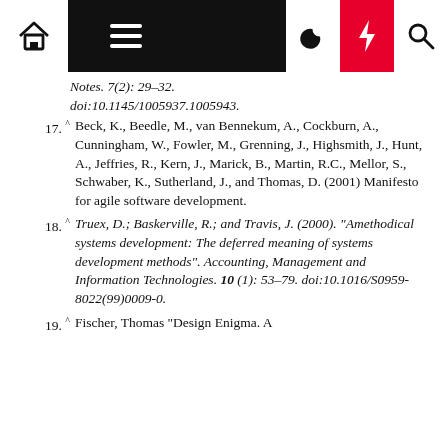Navigation bar with home, menu, moon, bolt, search icons
Notes. 7(2): 29–32. doi:10.1145/1005937.1005943.
17. ^ Beck, K., Beedle, M., van Bennekum, A., Cockburn, A., Cunningham, W., Fowler, M., Grenning, J., Highsmith, J., Hunt, A., Jeffries, R., Kern, J., Marick, B., Martin, R.C., Mellor, S., Schwaber, K., Sutherland, J., and Thomas, D. (2001) Manifesto for agile software development.
18. ^ Truex, D.; Baskerville, R.; and Travis, J. (2000). "Amethodical systems development: The deferred meaning of systems development methods". Accounting, Management and Information Technologies. 10 (1): 53–79. doi:10.1016/S0959-8022(99)0009-0.
19. ^ Fischer, Thomas "Design Enigma. A